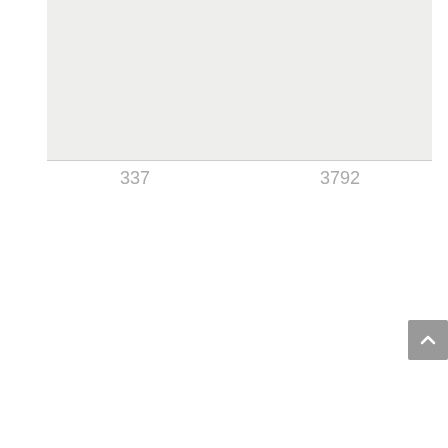[Figure (other): Gray rectangular area occupying the upper portion of the page]
337
3792